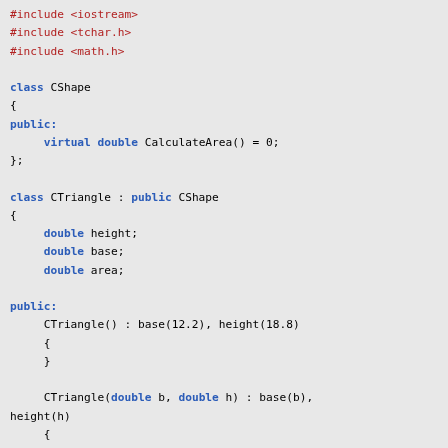#include <iostream>
#include <tchar.h>
#include <math.h>

class CShape
{
public:
    virtual double CalculateArea() = 0;
};

class CTriangle : public CShape
{
    double height;
    double base;
    double area;

public:
    CTriangle() : base(12.2), height(18.8)
    {
    }

    CTriangle(double b, double h) : base(b),
height(h)
    {
    }

    void SetHeight(double h) { height = h; }
    void SetBase(double b) { base = b; }